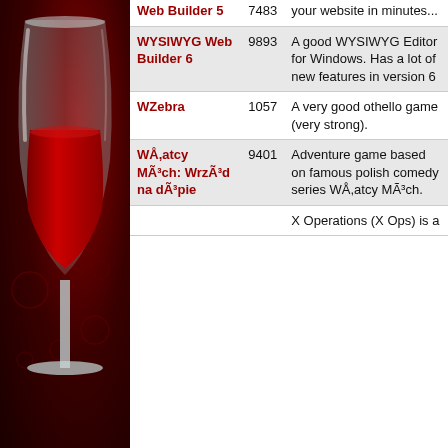[Figure (illustration): Wine glass with red wine on a dark red background, part of Wine (Windows compatibility layer) branding]
| Application | ID | Description |
| --- | --- | --- |
| Web Builder 5 | 7483 | your website in minutes... |
| WYSIWYG Web Builder 6 | 9893 | A good WYSIWYG Editor for Windows. Has a lot of new features in version 6 |
| WZebra | 1057 | A very good othello game (very strong). |
| WÅ,atcy MÃ³ch: WrzÃ³d na dÃ³pie | 9401 | Adventure game based on famous polish comedy series WÅ,atcy MÃ³ch. |
|  |  | X Operations (X Ops) is a |